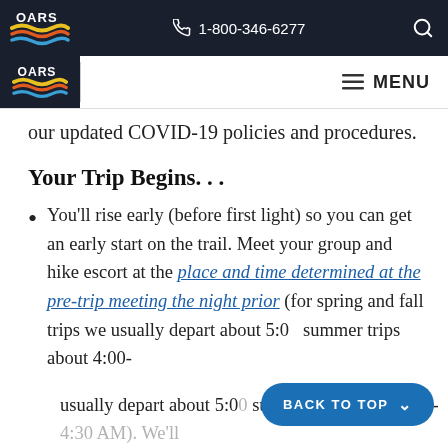1-800-346-6277 | OARS | MENU
our updated COVID-19 policies and procedures.
Your Trip Begins. . .
You'll rise early (before first light) so you can get an early start on the trail. Meet your group and hike escort at the place and time determined at the pre-trip meeting the night prior (for spring and fall trips we usually depart about 5:00 summer trips about 4:00-4:30 AM). We'll